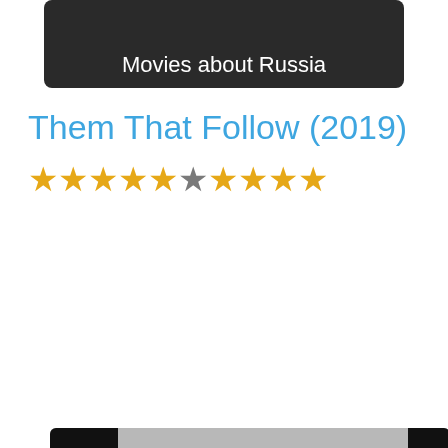[Figure (screenshot): Dark banner with text 'Movies about Russia' showing a partial movie poster image at the top]
Them That Follow (2019)
★★★★★☆★★★★ (star rating: 5 gold, 1 dark, 4 gold)
[Figure (screenshot): Video player with gray background, black side bars (letterboxing), and a circular play button in the center]